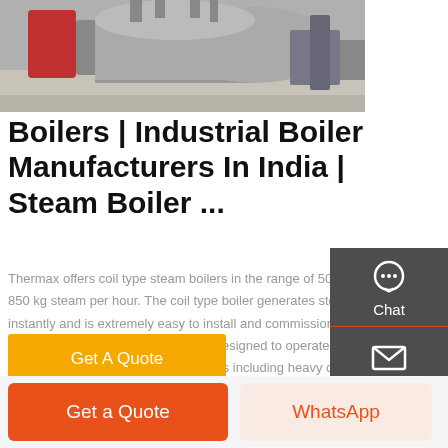[Figure (photo): Industrial boiler equipment in a factory setting, showing large cylindrical boiler tanks and piping in an industrial facility]
Boilers | Industrial Boiler Manufacturers In India | Steam Boiler ...
Thermax offers coil type steam boilers in the range of 50 to 850 kg steam per hour. The coil type boiler generates steam instantly and is extremely easy to install and commission. These boilers are safe, reliable and designed to operate on a wide range of liquid and gaseous fuels including heavy oil, light oil, gas, and dual fuel options.
Get A Quote
Chat
Email
Contact
Get a Quote
WhatsApp